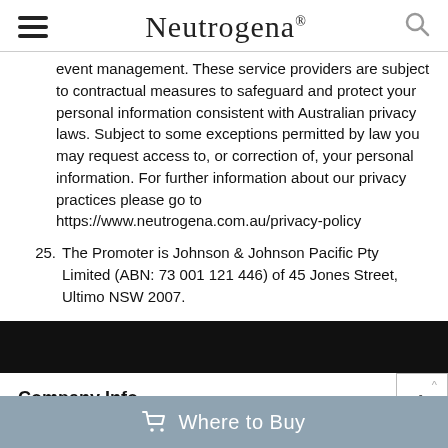Neutrogena
event management. These service providers are subject to contractual measures to safeguard and protect your personal information consistent with Australian privacy laws. Subject to some exceptions permitted by law you may request access to, or correction of, your personal information. For further information about our privacy practices please go to https://www.neutrogena.com.au/privacy-policy
25. The Promoter is Johnson & Johnson Pacific Pty Limited (ABN: 73 001 121 446) of 45 Jones Street, Ultimo NSW 2007.
Company Info